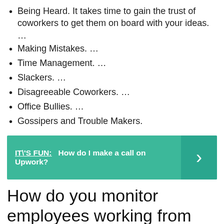Being Heard. It takes time to gain the trust of coworkers to get them on board with your ideas. …
Making Mistakes. …
Time Management. …
Slackers. …
Disagreeable Coworkers. …
Office Bullies. …
Gossipers and Trouble Makers.
IT\'S FUN:  How do I make a call on Upwork?
How do you monitor employees working from home?